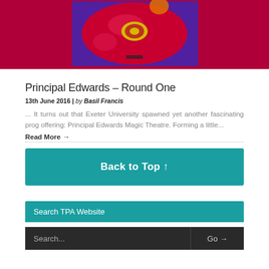[Figure (photo): Album cover artwork showing a red/pink circular record-like shape against a purple/blue background with red surroundings]
Principal Edwards – Round One
13th June 2016 | by Basil Francis
... It turns out that Exeter University spawned yet another fascinating prog offering: Principal Edwards Magic Theatre. Forming a little...
Read More →
Back to Top ↑
Search TPA Website
Search... Go →